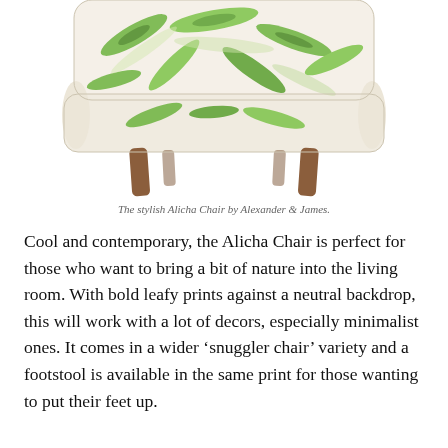[Figure (photo): A photograph of the Alicha Chair by Alexander & James — an accent chair upholstered in a white fabric with bold green tropical leaf print, featuring tapered mid-century style wooden legs. Only the seat, back, and legs are visible (top cropped).]
The stylish Alicha Chair by Alexander & James.
Cool and contemporary, the Alicha Chair is perfect for those who want to bring a bit of nature into the living room. With bold leafy prints against a neutral backdrop, this will work with a lot of decors, especially minimalist ones. It comes in a wider ‘snuggler chair’ variety and a footstool is available in the same print for those wanting to put their feet up.